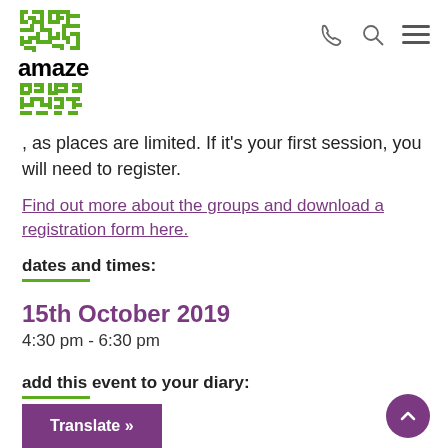[Figure (logo): Amaze organization logo with green maze-style icon above and below the text 'amaze']
, as places are limited. If it's your first session, you will need to register.
Find out more about the groups and download a registration form here.
dates and times:
15th October 2019
4:30 pm - 6:30 pm
add this event to your diary: